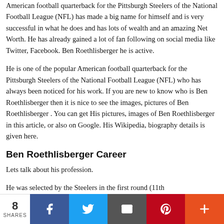American football quarterback for the Pittsburgh Steelers of the National Football League (NFL) has made a big name for himself and is very successful in what he does and has lots of wealth and an amazing Net Worth. He has already gained a lot of fan following on social media like Twitter, Facebook. Ben Roethlisberger he is active.
He is one of the popular American football quarterback for the Pittsburgh Steelers of the National Football League (NFL) who has always been noticed for his work. If you are new to know who is Ben Roethlisberger then it is nice to see the images, pictures of Ben Roethlisberger . You can get His pictures, images of Ben Roethlisberger in this article, or also on Google. His Wikipedia, biography details is given here.
Ben Roethlisberger Career
Lets talk about his profession.
He was selected by the Steelers in the first round (11th